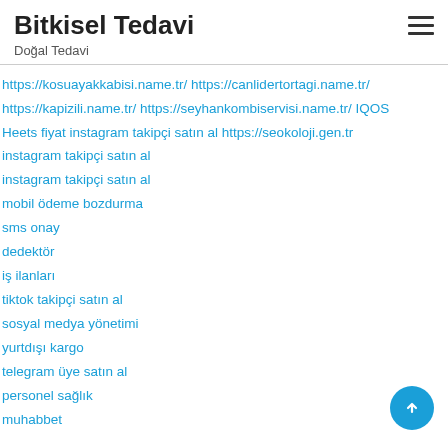Bitkisel Tedavi
Doğal Tedavi
https://kosuayakkabisi.name.tr/ https://canlidertortagi.name.tr/
https://kapizili.name.tr/ https://seyhankombiservisi.name.tr/ IQOS
Heets fiyat instagram takipçi satın al https://seokoloji.gen.tr
instagram takipçi satın al
instagram takipçi satın al
mobil ödeme bozdurma
sms onay
dedektör
iş ilanları
tiktok takipçi satın al
sosyal medya yönetimi
yurtdışı kargo
telegram üye satın al
personel sağlık
muhabbet